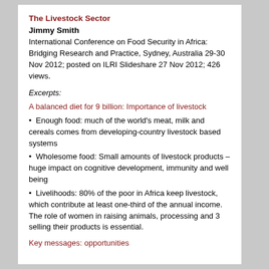The Livestock Sector
Jimmy Smith
International Conference on Food Security in Africa: Bridging Research and Practice, Sydney, Australia 29-30 Nov 2012; posted on ILRI Slideshare 27 Nov 2012; 426 views.
Excerpts:
A balanced diet for 9 billion: Importance of livestock
Enough food: much of the world's meat, milk and cereals comes from developing-country livestock based systems
Wholesome food: Small amounts of livestock products – huge impact on cognitive development, immunity and well being
Livelihoods: 80% of the poor in Africa keep livestock, which contribute at least one-third of the annual income. The role of women in raising animals, processing and 3 selling their products is essential.
Key messages: opportunities